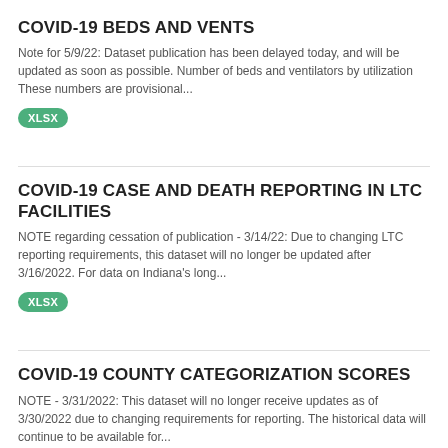COVID-19 BEDS AND VENTS
Note for 5/9/22: Dataset publication has been delayed today, and will be updated as soon as possible. Number of beds and ventilators by utilization These numbers are provisional...
XLSX
COVID-19 CASE AND DEATH REPORTING IN LTC FACILITIES
NOTE regarding cessation of publication - 3/14/22: Due to changing LTC reporting requirements, this dataset will no longer be updated after 3/16/2022. For data on Indiana's long...
XLSX
COVID-19 COUNTY CATEGORIZATION SCORES
NOTE - 3/31/2022: This dataset will no longer receive updates as of 3/30/2022 due to changing requirements for reporting. The historical data will continue to be available for...